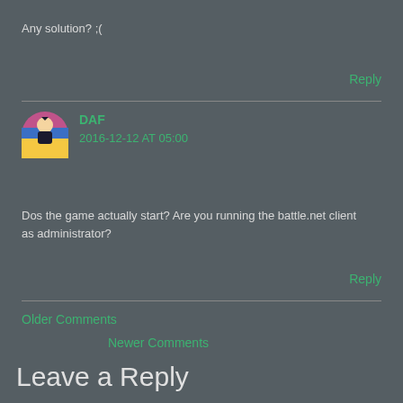Any solution? ;(
Reply
DAF
2016-12-12 AT 05:00
Dos the game actually start? Are you running the battle.net client as administrator?
Reply
Older Comments
Newer Comments
Leave a Reply